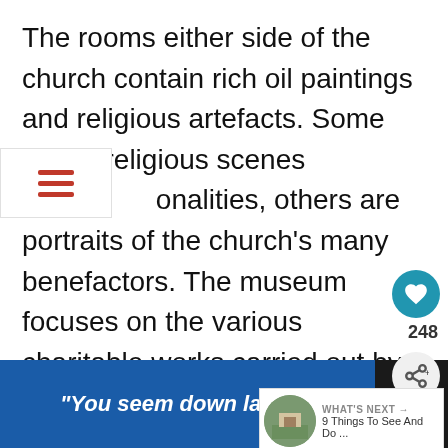The rooms either side of the church contain rich oil paintings and religious artefacts. Some depict religious scenes or personalities, others are portraits of the church's many benefactors. The museum focuses on the various charitable works carried out by the church over the centuries, both physical acts and spiritual support. It's only a euro without the ticket.
[Figure (screenshot): Website UI overlay showing: hamburger menu icon (three orange-red horizontal lines), a teal heart/like button with count 248, a share button, and a 'What's Next' card showing '9 Things To See And Do ...']
[Figure (screenshot): Advertisement banner at the bottom: blue background with white bold italic text '"You seem down lately."' and a close button with X on dark background]